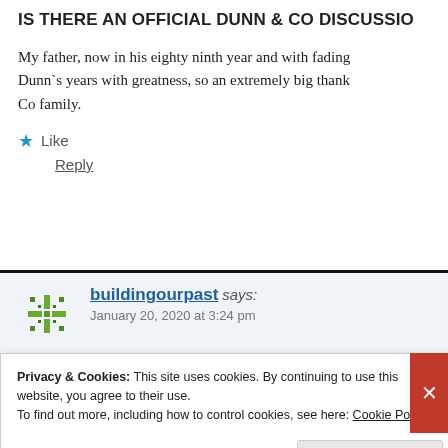IS THERE AN OFFICIAL DUNN & CO DISCUSSION
My father, now in his eighty ninth year and with fading Dunn`s years with greatness, so an extremely big thank Co family.
★ Like
Reply
buildingourpast says: January 20, 2020 at 3:24 pm
Privacy & Cookies: This site uses cookies. By continuing to use this website, you agree to their use. To find out more, including how to control cookies, see here: Cookie Policy
Close and accept